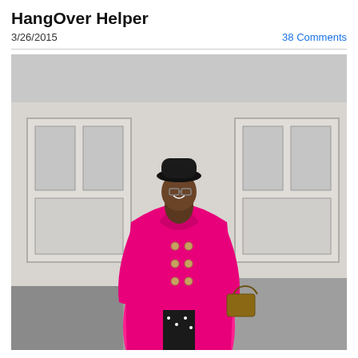HangOver Helper
3/26/2015
38 Comments
[Figure (photo): A woman wearing a bright pink double-breasted pea coat over a black and white polka dot dress, with a black hat and glasses, standing outdoors in front of a white building with large windows. She is smiling and holding a bag.]